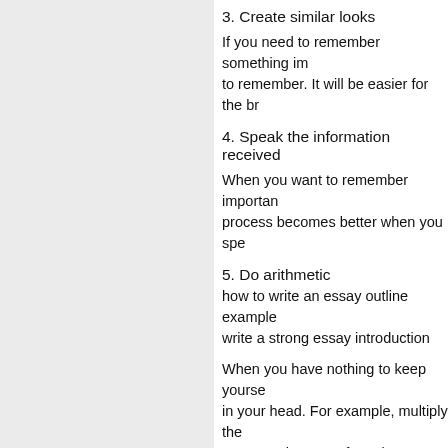3. Create similar looks
If you need to remember something im... to remember. It will be easier for the br...
4. Speak the information received
When you want to remember importan... process becomes better when you spe...
5. Do arithmetic
how to write an essay outline example... write a strong essay introduction
When you have nothing to keep yourse... in your head. For example, multiply the... Or count the sum of numbers on the n... Remember what happened to you duri...
Before going to bed, after the day, scro... would you do to improve some points.... task! Ask the question: "Which decisio...
7. Read more books!
What could be better than spending yo...